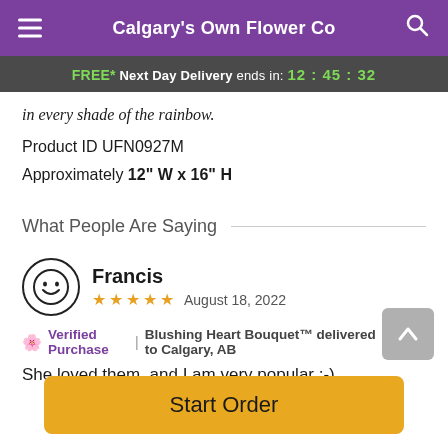Calgary's Own Flower Co
FREE* Next Day Delivery ends in: 12:45:32
in every shade of the rainbow.
Product ID UFN0927M
Approximately 12" W x 16" H
What People Are Saying
Francis
★ ★ ★ ★ ★  August 18, 2022
🌸 Verified Purchase | Blushing Heart Bouquet™ delivered to Calgary, AB
She loved them, and I am very popular ;-)